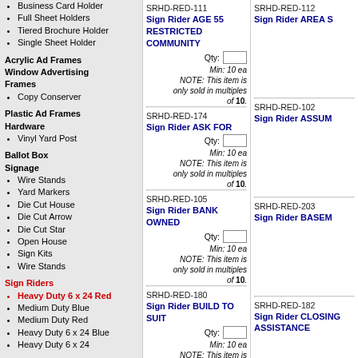Business Card Holder
Full Sheet Holders
Tiered Brochure Holder
Single Sheet Holder
Acrylic Ad Frames
Window Advertising Frames
Copy Conserver
Plastic Ad Frames
Hardware
Vinyl Yard Post
Ballot Box
Signage
Wire Stands
Yard Markers
Die Cut House
Die Cut Arrow
Die Cut Star
Open House
Sign Kits
Wire Stands
Sign Riders
Heavy Duty 6 x 24 Red
Medium Duty Blue
Medium Duty Red
Heavy Duty 6 x 24 Blue
Heavy Duty 6 x 24
SRHD-RED-111
Sign Rider AGE 55 RESTRICTED COMMUNITY
Qty: [  ]  Min: 10 ea  NOTE: This item is only sold in multiples of 10.
SRHD-RED-174
Sign Rider ASK FOR
Qty: [  ]  Min: 10 ea  NOTE: This item is only sold in multiples of 10.
SRHD-RED-105
Sign Rider BANK OWNED
Qty: [  ]  Min: 10 ea  NOTE: This item is only sold in multiples of 10.
SRHD-RED-180
Sign Rider BUILD TO SUIT
Qty: [  ]  Min: 10 ea  NOTE: This item is only sold in multiples of 10.
SRHD-RED-112
Sign Rider AREA S
SRHD-RED-102
Sign Rider ASSUM
SRHD-RED-203
Sign Rider BASEM
SRHD-RED-182
Sign Rider CLOSING ASSISTANCE